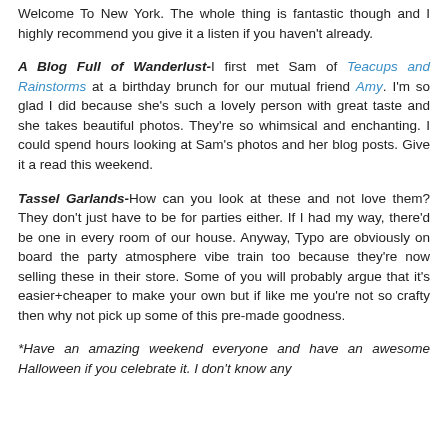Welcome To New York. The whole thing is fantastic though and I highly recommend you give it a listen if you haven't already.
A Blog Full of Wanderlust-I first met Sam of Teacups and Rainstorms at a birthday brunch for our mutual friend Amy. I'm so glad I did because she's such a lovely person with great taste and she takes beautiful photos. They're so whimsical and enchanting. I could spend hours looking at Sam's photos and her blog posts. Give it a read this weekend.
Tassel Garlands-How can you look at these and not love them? They don't just have to be for parties either. If I had my way, there'd be one in every room of our house. Anyway, Typo are obviously on board the party atmosphere vibe train too because they're now selling these in their store. Some of you will probably argue that it's easier+cheaper to make your own but if like me you're not so crafty then why not pick up some of this pre-made goodness.
*Have an amazing weekend everyone and have an awesome Halloween if you celebrate it. I don't know any...